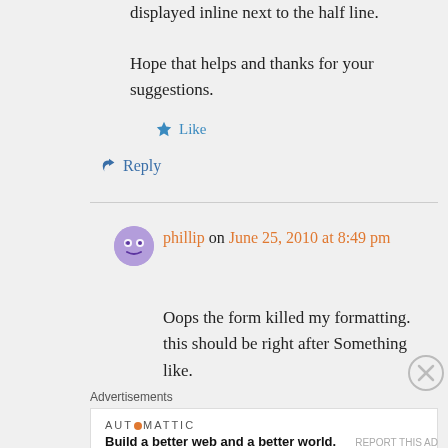displayed inline next to the half line.
Hope that helps and thanks for your suggestions.
★ Like
↩ Reply
phillip on June 25, 2010 at 8:49 pm
Oops the form killed my formatting. this should be right after Something like.
Advertisements
AUTOMATTIC
Build a better web and a better world.